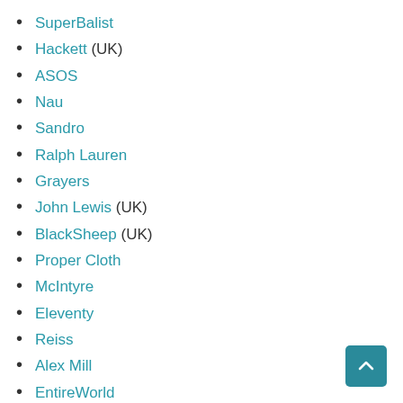SuperBalist
Hackett (UK)
ASOS
Nau
Sandro
Ralph Lauren
Grayers
John Lewis (UK)
BlackSheep (UK)
Proper Cloth
McIntyre
Eleventy
Reiss
Alex Mill
EntireWorld